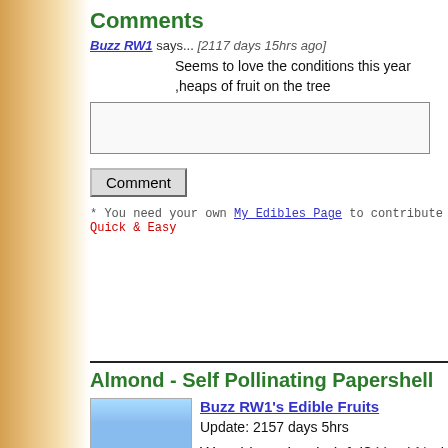Comments
Buzz RW1 says... [2117 days 15hrs ago]
Seems to love the conditions this year ,heaps of fruit on the tree
* You need your own My Edibles Page to contribute Quick & Easy
Almond - Self Pollinating Papershell
Buzz RW1's Edible Fruits
Update: 2157 days 5hrs
Was this review helpful? Yes | No | Report
Comments
Buzz RW1 says... [2117 days 15hrs ago]